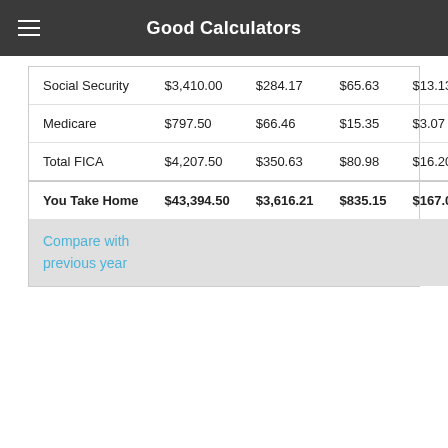Good Calculators
| Social Security | $3,410.00 | $284.17 | $65.63 | $13.13 |
| Medicare | $797.50 | $66.46 | $15.35 | $3.07 |
| Total FICA | $4,207.50 | $350.63 | $80.98 | $16.20 |
| You Take Home | $43,394.50 | $3,616.21 | $835.15 | $167.03 |
Compare with previous year